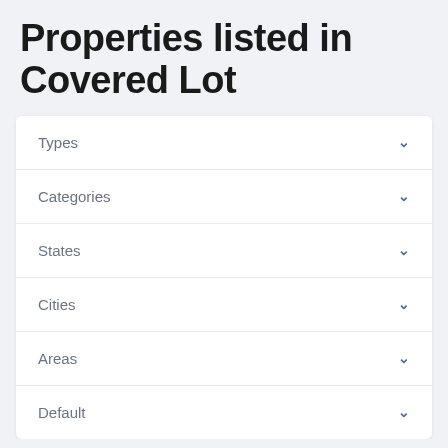Properties listed in Covered Lot
Types
Categories
States
Cities
Areas
Default
[Figure (photo): Exterior photo of multi-story brick apartment buildings with blue windows and trees]